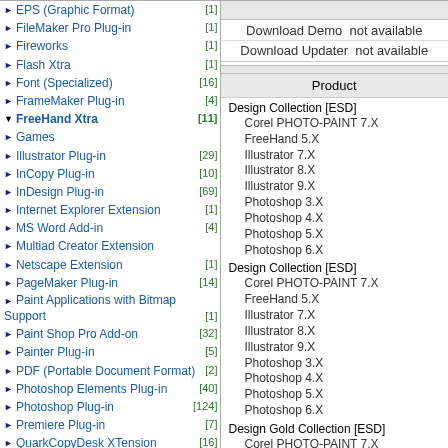EPS (Graphic Format) [1]
FileMaker Pro Plug-in [1]
Fireworks [1]
Flash Xtra [1]
Font (Specialized) [16]
FrameMaker Plug-in [4]
FreeHand Xtra [11]
Games
Illustrator Plug-in [29]
InCopy Plug-in [10]
InDesign Plug-in [69]
Internet Explorer Extension [1]
MS Word Add-in [4]
Multiad Creator Extension
Netscape Extension [1]
PageMaker Plug-in [14]
Paint Applications with Bitmap Support [1]
Paint Shop Pro Add-on [32]
Painter Plug-in [5]
PDF (Portable Document Format) [2]
Photoshop Elements Plug-in [40]
Photoshop Plug-in [124]
Premiere Plug-in [7]
QuarkCopyDesk XTension [16]
QuarkXPress Passport XTension [17]
QuarkXPress Server XTension [10]
QuarkXPress XTension [285]
Stand-alone Application [107]
Download Demo not available
Download Updater not available
Product
Design Collection [ESD]
  Corel PHOTO-PAINT 7.X
  FreeHand 5.X
  Illustrator 7.X
  Illustrator 8.X
  Illustrator 9.X
  Photoshop 3.X
  Photoshop 4.X
  Photoshop 5.X
  Photoshop 6.X
Design Collection [ESD]
  Corel PHOTO-PAINT 7.X
  FreeHand 5.X
  Illustrator 7.X
  Illustrator 8.X
  Illustrator 9.X
  Photoshop 3.X
  Photoshop 4.X
  Photoshop 5.X
  Photoshop 6.X
Design Gold Collection [ESD]
  Corel PHOTO-PAINT 7.X
  FreeHand 5.X
  Illustrator 7.X
  Illustrator 8.X
  Illustrator 9.X
  Photoshop 3.X